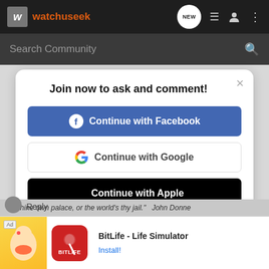watchuseek — navigation bar with NEW, list, profile, menu icons
Search Community
Join now to ask and comment!
Continue with Facebook
Continue with Google
Continue with Apple
or sign up with email
"Be thine own palace, or the world's thy jail."   John Donne
Ad   BitLife - Life Simulator   Install!
Reply